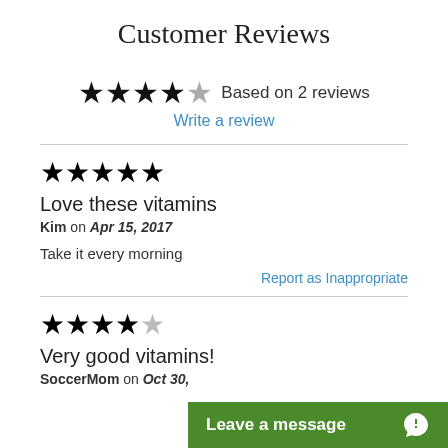Customer Reviews
★★★★✩ Based on 2 reviews
Write a review
★★★★★
Love these vitamins
Kim on Apr 15, 2017
Take it every morning
Report as Inappropriate
★★★★☆
Very good vitamins!
SoccerMom on Oct 30,
Leave a message